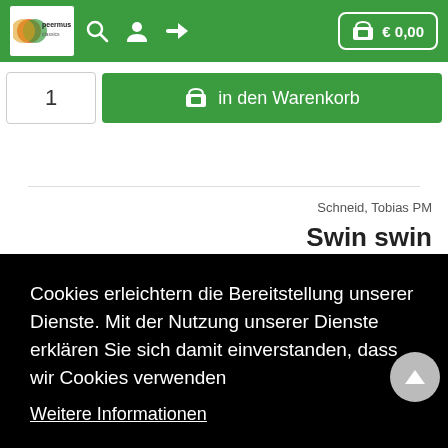peermusic | € 0,00
1   in den Warenkorb
Schneid, Tobias PM
Swin swin
Cookies erleichtern die Bereitstellung unserer Dienste. Mit der Nutzung unserer Dienste erklären Sie sich damit einverstanden, dass wir Cookies verwenden
Weitere Informationen
Ok